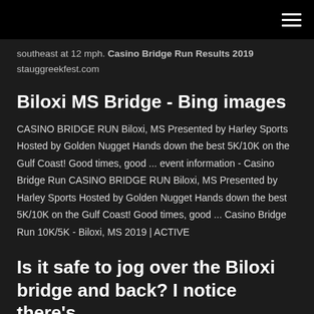southeast at 12 mph. Casino Bridge Run Results 2019 stauggreekfest.com
Biloxi MS Bridge - Bing images
CASINO BRIDGE RUN Biloxi, MS Presented by Harley Sports Hosted by Golden Nugget Hands down the best 5K/10K on the Gulf Coast! Good times, good ... event information - Casino Bridge Run CASINO BRIDGE RUN Biloxi, MS Presented by Harley Sports Hosted by Golden Nugget Hands down the best 5K/10K on the Gulf Coast! Good times, good ... Casino Bridge Run 10K/5K - Biloxi, MS 2019 | ACTIVE
Is it safe to jog over the Biloxi bridge and back? I notice there's